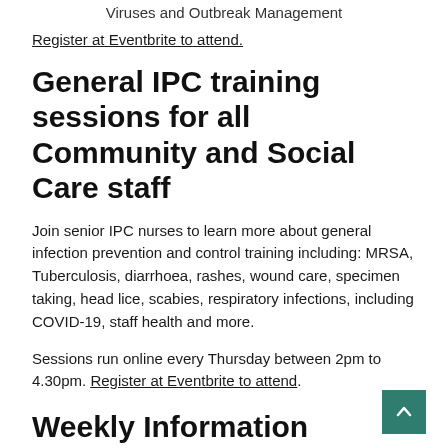Viruses and Outbreak Management
Register at Eventbrite to attend.
General IPC training sessions for all Community and Social Care staff
Join senior IPC nurses to learn more about general infection prevention and control training including: MRSA, Tuberculosis, diarrhoea, rashes, wound care, specimen taking, head lice, scabies, respiratory infections, including COVID-19, staff health and more.
Sessions run online every Thursday between 2pm to 4.30pm. Register at Eventbrite to attend.
Weekly Information Sharing